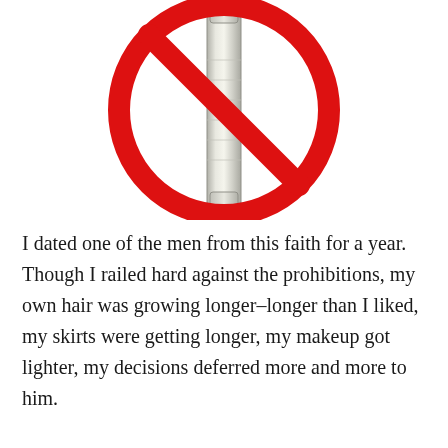[Figure (illustration): A no-smoking style prohibition sign: a red circle with a red diagonal slash over a silver/metallic cylindrical object (resembling a razor or similar grooming tool), on a white background.]
I dated one of the men from this faith for a year. Though I railed hard against the prohibitions, my own hair was growing longer–longer than I liked, my skirts were getting longer, my makeup got lighter, my decisions deferred more and more to him.